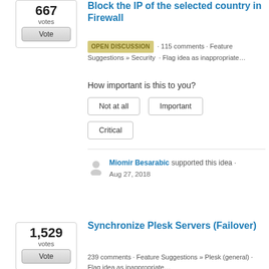667 votes
Vote
Block the IP of the selected country in Firewall
OPEN DISCUSSION · 115 comments · Feature Suggestions » Security · Flag idea as inappropriate…
How important is this to you?
Not at all
Important
Critical
Miomir Besarabic supported this idea · Aug 27, 2018
1,529 votes
Vote
Synchronize Plesk Servers (Failover)
239 comments · Feature Suggestions » Plesk (general) · Flag idea as inappropriate…